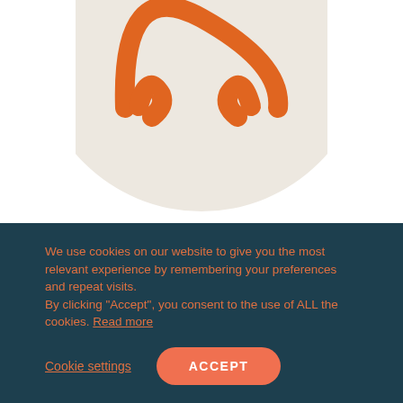[Figure (logo): Partial circular logo with orange swirl/wave mark on a beige/cream circular background, partially visible at top of page]
We use cookies on our website to give you the most relevant experience by remembering your preferences and repeat visits.
By clicking “Accept”, you consent to the use of ALL the cookies. Read more
Cookie settings
ACCEPT